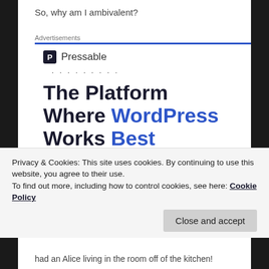So, why am I ambivalent?
Advertisements
[Figure (logo): Pressable logo with P icon and 'Pressable' text, followed by decorative dots]
The Platform Where WordPress Works Best
Privacy & Cookies: This site uses cookies. By continuing to use this website, you agree to their use.
To find out more, including how to control cookies, see here: Cookie Policy
had an Alice living in the room off of the kitchen!